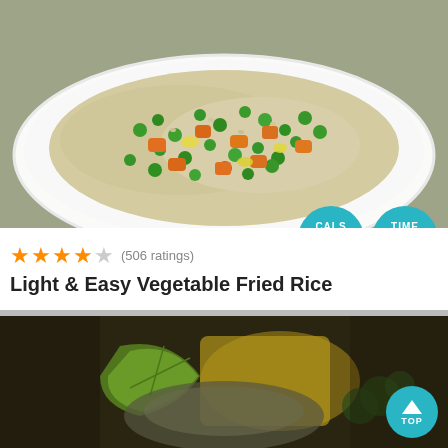[Figure (photo): Photo of fried rice with peas and carrots in a white bowl on a wooden surface]
★★★★☆ (506 ratings)
Light & Easy Vegetable Fried Rice
[Figure (infographic): Teal circular badge showing CALS 137]
[Figure (infographic): Teal circular badge showing TIME 0]
[Figure (photo): Partial photo of a dish with lime and herbs at the bottom of the page]
[Figure (infographic): Teal circular button with up arrow and TOP label]